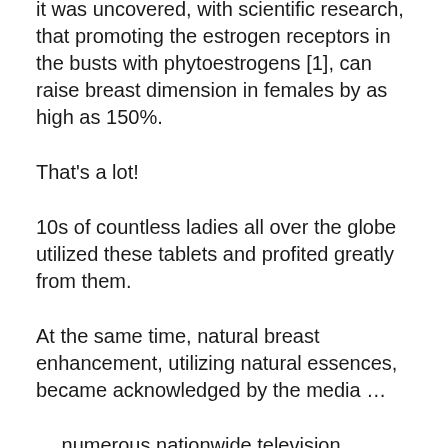it was uncovered, with scientific research, that promoting the estrogen receptors in the busts with phytoestrogens [1], can raise breast dimension in females by as high as 150%.
That's a lot!
10s of countless ladies all over the globe utilized these tablets and profited greatly from them.
At the same time, natural breast enhancement, utilizing natural essences, became acknowledged by the media …
… numerous nationwide television programs such as CNN Heading Information, The